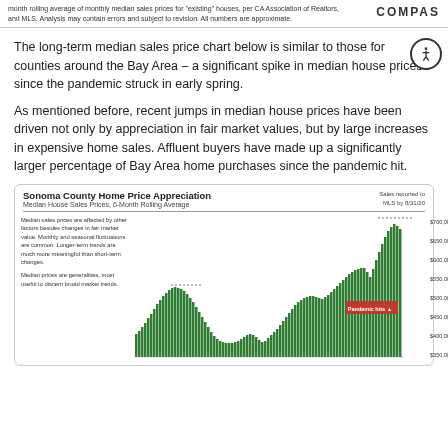month rolling average of monthly median sales prices for "existing" houses, per CA Association of Realtors, and MLS. Analysis may contain errors and subject to revision. All numbers are approximate.
The long-term median sales price chart below is similar to those for counties around the Bay Area – a significant spike in median house prices since the pandemic struck in early spring.
As mentioned before, recent jumps in median house prices have been driven not only by appreciation in fair market values, but by large increases in expensive home sales. Affluent buyers have made up a significantly larger percentage of Bay Area home purchases since the pandemic hit.
[Figure (bar-chart): A bar chart showing Sonoma County home price appreciation over time using 6-month rolling average median house sales prices. The chart shows two peaks (around 2005-2007 and again rising sharply post-2012 through 2020). Y-axis labels: $350,000, $400,000, $450,000, $500,000, $550,000, $600,000, $650,000, $700,000. A dotted line at the top indicates the recent high. A 'Pandemic hits' marker is noted. Note: 'Sales reported to MLS by 8/31/20'. Left side notes: Median sales prices are affected by other factors besides changes in fair market value. Monthly and seasonal fluctuations are common. Longer-term trends are much more meaningful than short-term changes. Median prices are generalities, most useful to discern broad market trends.]